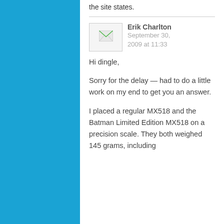the site states.
Erik Charlton
September 30, 2009 at 11:33
Hi dingle,
Sorry for the delay — had to do a little work on my end to get you an answer.
I placed a regular MX518 and the Batman Limited Edition MX518 on a precision scale. They both weighed 145 grams, including